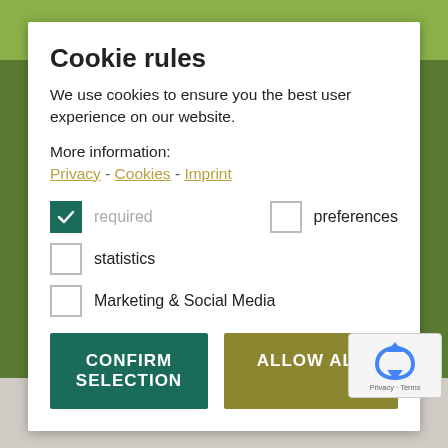[Figure (screenshot): Green aerial landscape background with roads visible]
Cookie rules
We use cookies to ensure you the best user experience on our website.
More information:
Privacy - Cookies - Imprint
required (checked)
preferences (unchecked)
statistics (unchecked)
Marketing & Social Media (unchecked)
CONFIRM SELECTION  ALLOW ALL
On the Wine road, between the towns of Caldaro and Termeno